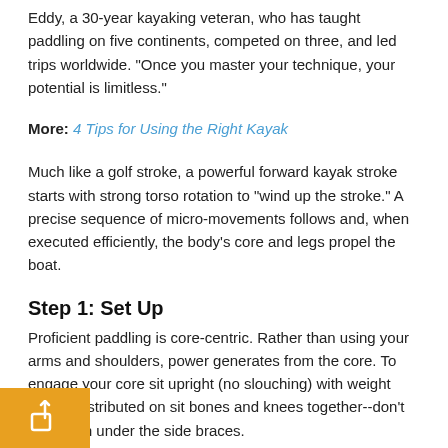Eddy, a 30-year kayaking veteran, who has taught paddling on five continents, competed on three, and led trips worldwide. "Once you master your technique, your potential is limitless."
More: 4 Tips for Using the Right Kayak
Much like a golf stroke, a powerful forward kayak stroke starts with strong torso rotation to "wind up the stroke." A precise sequence of micro-movements follows and, when executed efficiently, the body's core and legs propel the boat.
Step 1: Set Up
Proficient paddling is core-centric. Rather than using your arms and shoulders, power generates from the core. To engage your core sit upright (no slouching) with weight evenly distributed on sit bones and knees together--don't lock them under the side braces.